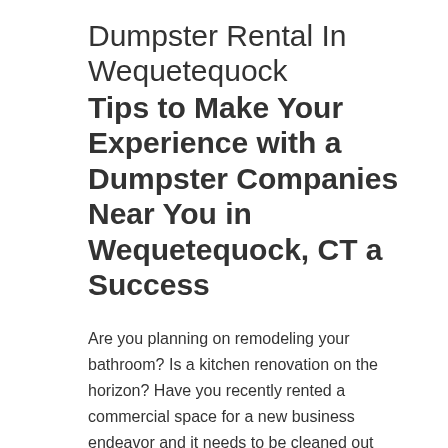Dumpster Rental In Wequetequock
Tips to Make Your Experience with a Dumpster Companies Near You in Wequetequock, CT a Success
Are you planning on remodeling your bathroom? Is a kitchen renovation on the horizon? Have you recently rented a commercial space for a new business endeavor and it needs to be cleaned out before you can set it up for your venture? Maybe you intend to clean out a lot of junk that you've